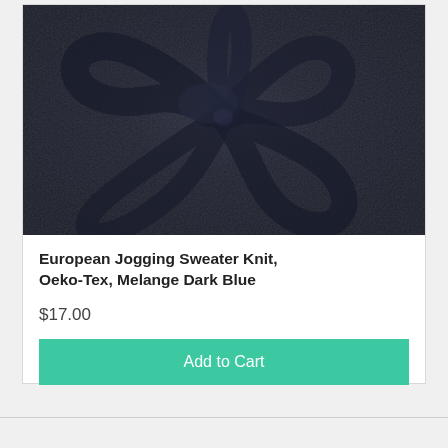[Figure (photo): Close-up photo of dark navy blue jogging sweater knit fabric twisted into a swirl pattern showing texture]
European Jogging Sweater Knit, Oeko-Tex, Melange Dark Blue
$17.00
Add to Cart